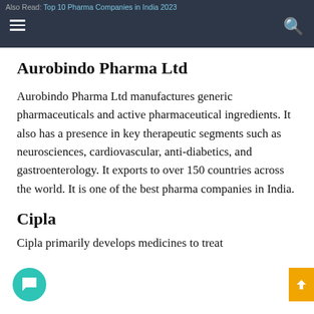Also Read: Top 10 Pharma Companies in India 2023
Aurobindo Pharma Ltd
Aurobindo Pharma Ltd manufactures generic pharmaceuticals and active pharmaceutical ingredients. It also has a presence in key therapeutic segments such as neurosciences, cardiovascular, anti-diabetics, and gastroenterology. It exports to over 150 countries across the world. It is one of the best pharma companies in India.
Cipla
Cipla primarily develops medicines to treat